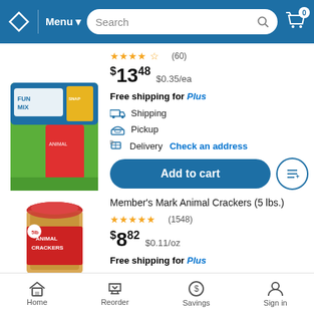Sam's Club navigation header with Menu, Search, and Cart (0)
[Figure (photo): Fun Mix snack variety box product image]
★★★★☆ (60)
$13.48  $0.35/ea
Free shipping for Plus
Shipping
Pickup
Delivery  Check an address
Add to cart
Member's Mark Animal Crackers (5 lbs.)
[Figure (photo): Member's Mark Animal Crackers 5 lb container]
★★★★★ (1548)
$8.82  $0.11/oz
Free shipping for Plus
Home  Reorder  Savings  Sign in